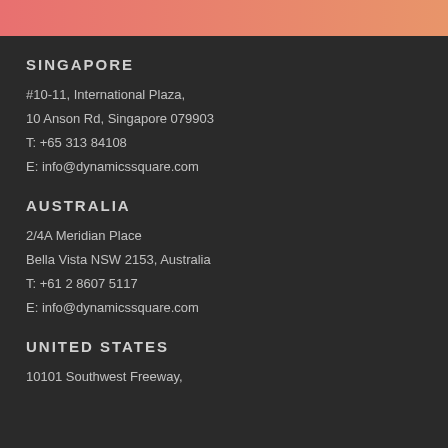[Figure (other): Gradient bar at top, transitioning from pink/red on the left to orange on the right]
SINGAPORE
#10-11, International Plaza,
10 Anson Rd, Singapore 079903
T: +65 313 84108
E: info@dynamicssquare.com
AUSTRALIA
2/4A Meridian Place
Bella Vista NSW 2153, Australia
T: +61 2 8607 5117
E: info@dynamicssquare.com
UNITED STATES
10101 Southwest Freeway,